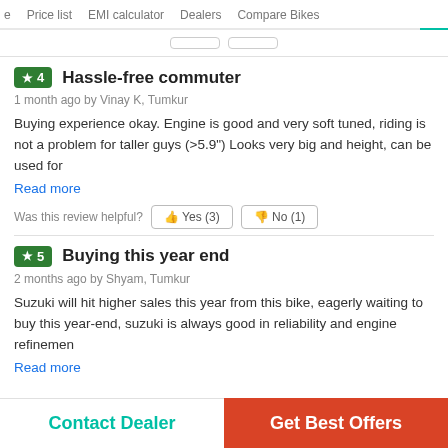Price list  EMI calculator  Dealers  Compare Bikes
★4  Hassle-free commuter
1 month ago by Vinay K, Tumkur
Buying experience okay. Engine is good and very soft tuned, riding is not a problem for taller guys (>5.9") Looks very big and height, can be used for
Read more
Was this review helpful?  Yes (3)  No (1)
★5  Buying this year end
2 months ago by Shyam, Tumkur
Suzuki will hit higher sales this year from this bike, eagerly waiting to buy this year-end, suzuki is always good in reliability and engine refinemen
Read more
Contact Dealer  Get Best Offers